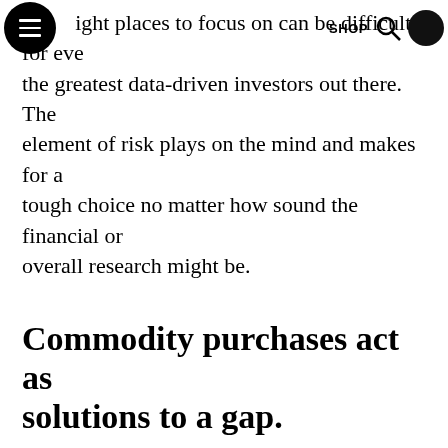SHOP
the right places to focus on can be difficult for even the greatest data-driven investors out there. The element of risk plays on the mind and makes for a tough choice no matter how sound the financial or overall research might be.
Commodity purchases act as solutions to a gap.
Whether you are looking for a real estate property as a borrower seeking a mortgage loan or need a new tool for your firm's workshop, buying a commodity asset is often approached as a way to fill in a gap in